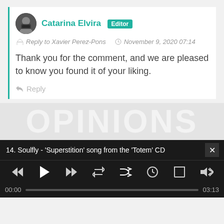Catarina Elvira  Editor
Reply to Xavier Perez-Pons  November 9, 2020 07:14
Thank you for the comment, and we are pleased to know you found it of your liking.
Reply
[Figure (screenshot): Watermark background text reading OPINIONS]
14. Soulfly - 'Superstition' song from the 'Totem' CD
00:00  03:13